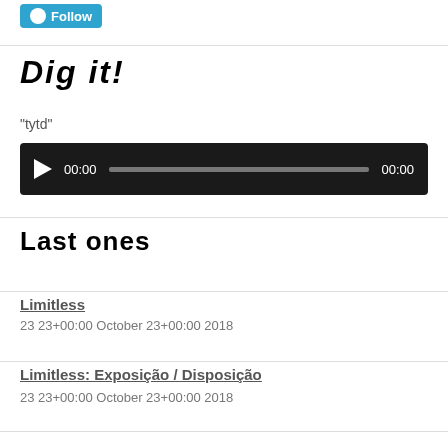[Figure (other): WordPress Follow button in blue]
Dig it!
“tytd”
[Figure (other): Audio player with play button, 00:00 time display, progress bar, and 00:00 duration]
Last ones
Limitless
23 23+00:00 October 23+00:00 2018
Limitless: Exposição / Disposição
23 23+00:00 October 23+00:00 2018